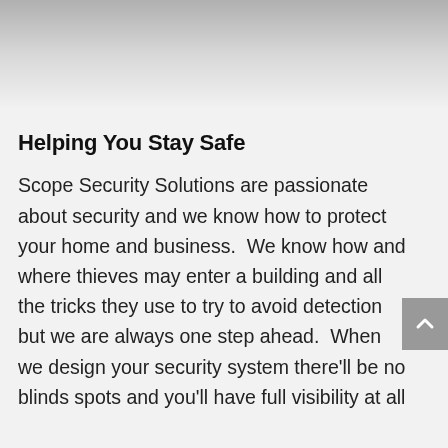[Figure (other): Decorative gradient header banner, light grey to white gradient]
Helping You Stay Safe
Scope Security Solutions are passionate about security and we know how to protect your home and business.  We know how and where thieves may enter a building and all the tricks they use to try to avoid detection but we are always one step ahead.  When we design your security system there'll be no blinds spots and you'll have full visibility at all